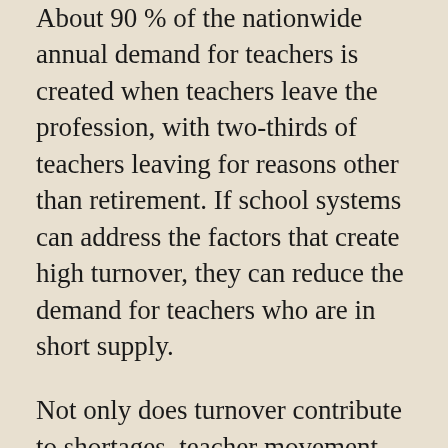About 90 % of the nationwide annual demand for teachers is created when teachers leave the profession, with two-thirds of teachers leaving for reasons other than retirement. If school systems can address the factors that create high turnover, they can reduce the demand for teachers who are in short supply.
Not only does turnover contribute to shortages, teacher movement out of schools and out of teaching creates costs for the schools they leave behind. Estimates exceed $20,000 to replace each teacher who leaves an urban school district.  Most importantly, high turnover rates reduce achievement for